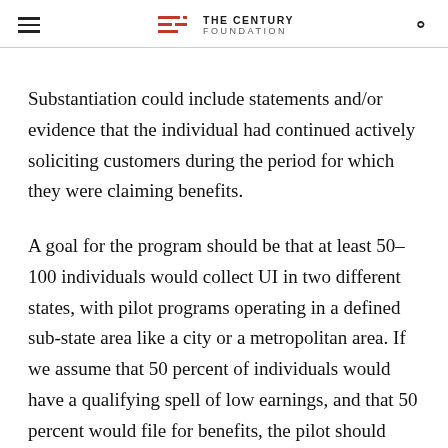THE CENTURY FOUNDATION
Substantiation could include statements and/or evidence that the individual had continued actively soliciting customers during the period for which they were claiming benefits.
A goal for the program should be that at least 50–100 individuals would collect UI in two different states, with pilot programs operating in a defined sub-state area like a city or a metropolitan area. If we assume that 50 percent of individuals would have a qualifying spell of low earnings, and that 50 percent would file for benefits, the pilot should recruit a sample of around 800 individuals per city (half in the control and half in